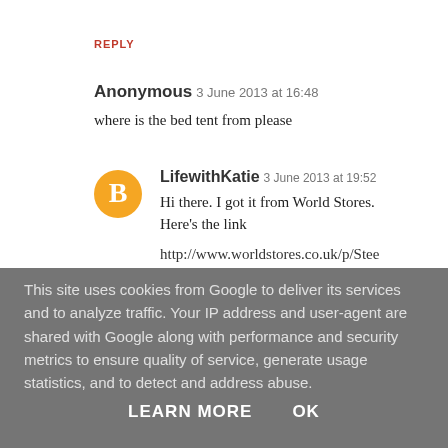REPLY
Anonymous 3 June 2013 at 16:48
where is the bed tent from please
LifewithKatie 3 June 2013 at 19:52
Hi there. I got it from World Stores. Here's the link
http://www.worldstores.co.uk/p/Stee
This site uses cookies from Google to deliver its services and to analyze traffic. Your IP address and user-agent are shared with Google along with performance and security metrics to ensure quality of service, generate usage statistics, and to detect and address abuse.
LEARN MORE   OK